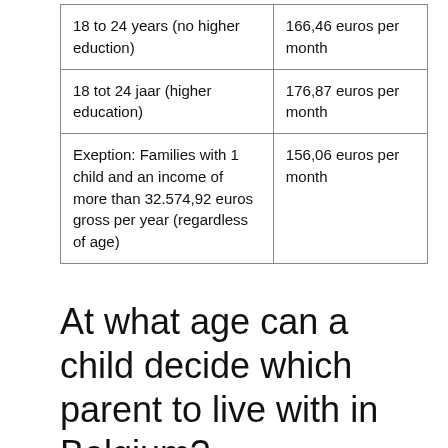|  |  |
| --- | --- |
| 18 to 24 years (no higher eduction) | 166,46 euros per month |
| 18 tot 24 jaar (higher education) | 176,87 euros per month |
| Exeption: Families with 1 child and an income of more than 32.574,92 euros gross per year (regardless of age) | 156,06 euros per month |
At what age can a child decide which parent to live with in Belgium?